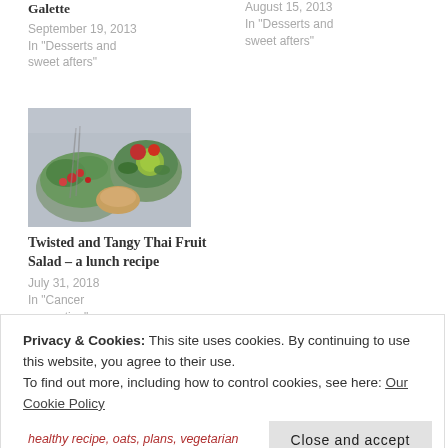Galette
September 19, 2013
In "Desserts and sweet afters"
August 15, 2013
In "Desserts and sweet afters"
[Figure (photo): Overhead photo of Thai fruit salad bowls with colorful fruits and greens on a light surface]
Twisted and Tangy Thai Fruit Salad – a lunch recipe
July 31, 2018
In "Cancer prevention"
Privacy & Cookies: This site uses cookies. By continuing to use this website, you agree to their use.
To find out more, including how to control cookies, see here: Our Cookie Policy
Close and accept
healthy recipe, oats, plans, vegetarian